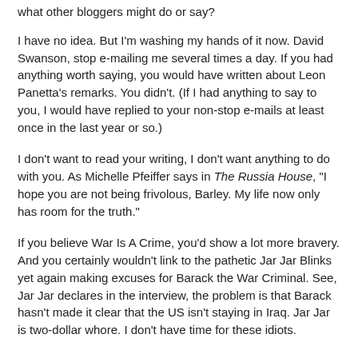what other bloggers might do or say?
I have no idea. But I'm washing my hands of it now. David Swanson, stop e-mailing me several times a day. If you had anything worth saying, you would have written about Leon Panetta's remarks. You didn't. (If I had anything to say to you, I would have replied to your non-stop e-mails at least once in the last year or so.)
I don't want to read your writing, I don't want anything to do with you. As Michelle Pfeiffer says in The Russia House, "I hope you are not being frivolous, Barley. My life now only has room for the truth."
If you believe War Is A Crime, you'd show a lot more bravery. And you certainly wouldn't link to the pathetic Jar Jar Blinks yet again making excuses for Barack the War Criminal. See, Jar Jar declares in the interview, the problem is that Barack hasn't made it clear that the US isn't staying in Iraq. Jar Jar is two-dollar whore. I don't have time for these idiots.